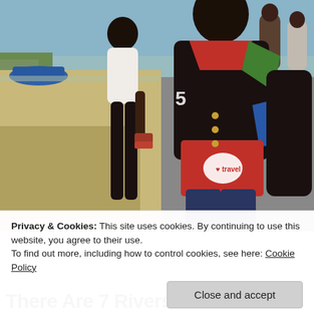[Figure (photo): Outdoor photo near a waterway/beach showing two women walking. The woman in the foreground wears a black, red, green and blue vest/jacket with a heart logo and 'travel' text and a number 5, carrying a dark bag. A second woman in a white top and black pants walks behind. A blue boat is visible near the water in the background. Sandy ground is visible.]
Privacy & Cookies: This site uses cookies. By continuing to use this website, you agree to their use.
To find out more, including how to control cookies, see here: Cookie Policy
Close and accept
There Are 7 Rivers in Africa???